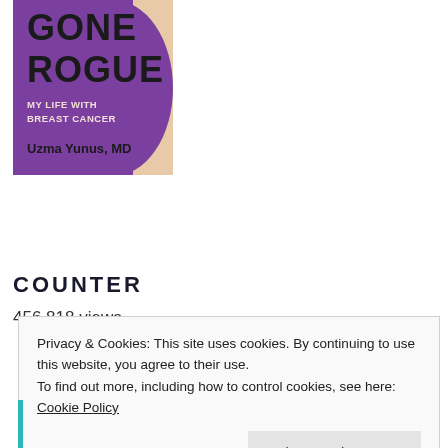[Figure (illustration): Book cover of 'Gone Rogue: My Life with Breast Cancer' by Uzma Yunus, MD. Purple and peach/beige background with bold dark text showing 'GONE ROGUE' as title, subtitle 'MY LIFE WITH BREAST CANCER', and author name 'Uzma Yunus, MD'.]
COUNTER
456,818 views
Privacy & Cookies: This site uses cookies. By continuing to use this website, you agree to their use.
To find out more, including how to control cookies, see here: Cookie Policy